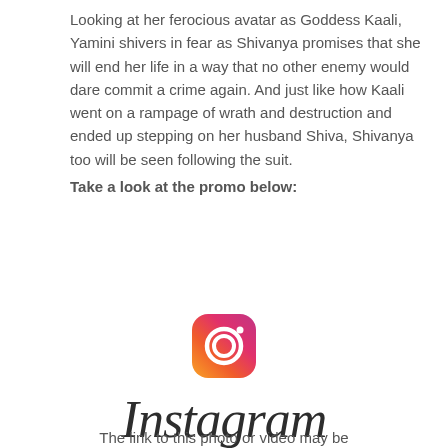Looking at her ferocious avatar as Goddess Kaali, Yamini shivers in fear as Shivanya promises that she will end her life in a way that no other enemy would dare commit a crime again. And just like how Kaali went on a rampage of wrath and destruction and ended up stepping on her husband Shiva, Shivanya too will be seen following the suit.
Take a look at the promo below:
[Figure (logo): Instagram logo icon — rounded square gradient camera icon with lens, in pink-to-orange-to-yellow gradient]
Instagram
The link to this photo or video may be